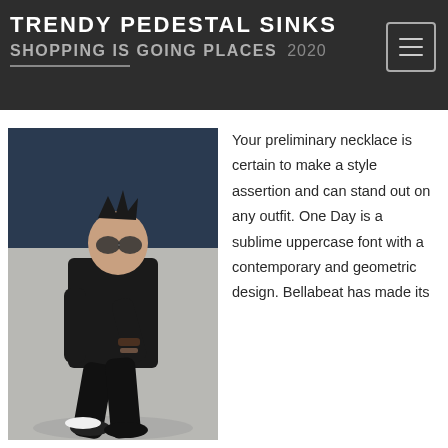TRENDY PEDESTAL SINKS — SHOPPING IS GOING PLACES 2020
[Figure (photo): Young man dressed in all black clothing including a long-sleeve shirt, skinny jeans, and sneakers, sitting on a concrete surface wearing round sunglasses, with spiky dark hair, photographed outdoors in front of a dark blue corrugated metal wall background.]
Your preliminary necklace is certain to make a style assertion and can stand out on any outfit. One Day is a sublime uppercase font with a contemporary and geometric design. Bellabeat has made its